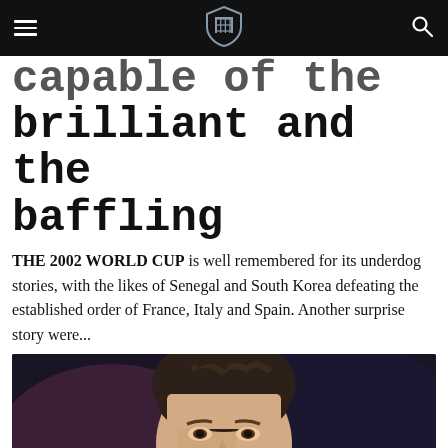[Navigation bar with menu, shield logo, and search icon]
capable of the brilliant and the baffling
THE 2002 WORLD CUP is well remembered for its underdog stories, with the likes of Senegal and South Korea defeating the established order of France, Italy and Spain. Another surprise story were...
[Figure (photo): Close-up photograph of a man's face with tousled dark hair against a dark background]